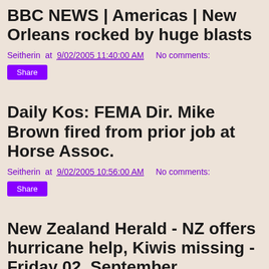BBC NEWS | Americas | New Orleans rocked by huge blasts
Seitherin at 9/02/2005 11:40:00 AM   No comments:
Share
Daily Kos: FEMA Dir. Mike Brown fired from prior job at Horse Assoc.
Seitherin at 9/02/2005 10:56:00 AM   No comments:
Share
New Zealand Herald - NZ offers hurricane help, Kiwis missing - Friday 02, September